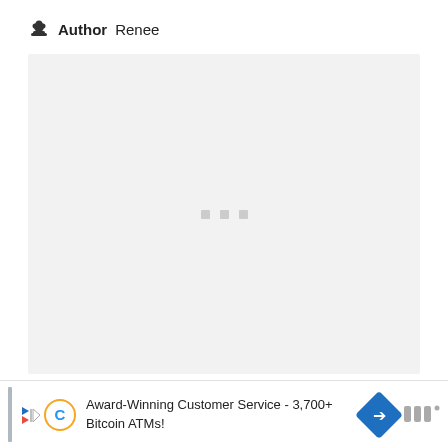Author Renee
[Figure (other): A light gray empty content placeholder box with three small gray squares in the center indicating a loading state]
Award-Winning Customer Service - 3,700+ Bitcoin ATMs!